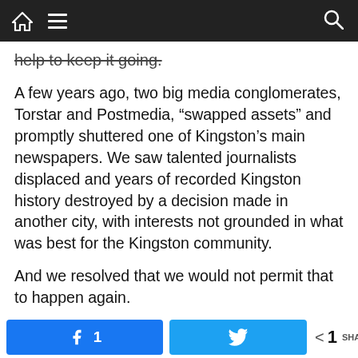[navigation bar with home, menu, and search icons]
help to keep it going.
A few years ago, two big media conglomerates, Torstar and Postmedia, “swapped assets” and promptly shuttered one of Kingston’s main newspapers. We saw talented journalists displaced and years of recorded Kingston history destroyed by a decision made in another city, with interests not grounded in what was best for the Kingston community.
And we resolved that we would not permit that to happen again.
That’s when we decided to take the Kingstonist, at
that time a popular Kingston community blog, and
1 [Facebook share button] [Twitter share button] < 1 SHARES